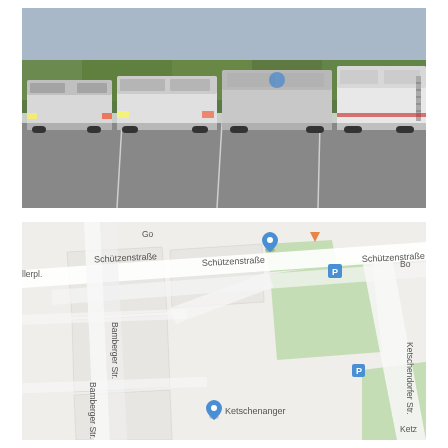[Figure (photo): A parking lot with four vehicles parked side by side: a white van on the far left, a white Mercedes Sprinter-type van, a grey/silver motorhome with a blue logo, and a large white motorhome/coach on the far right. Trees and open sky in the background, asphalt parking lot with white lines visible.]
[Figure (map): A Google Maps-style street map showing an area in what appears to be a German city. Streets labeled include Schützenstraße (appearing three times across the top), Bamberger Str. (appearing twice on the left side), Ketschendorfer Str. (on the right), and partial labels for Allerpl., Go-, and Bo- at the edges. A blue map pin is shown near the top center, an orange triangle icon is nearby, and a blue parking icon (P) appears near the center-right. Another blue P with 'Ketschenanger' label appears near the bottom center. Green areas indicate parks or green spaces.]